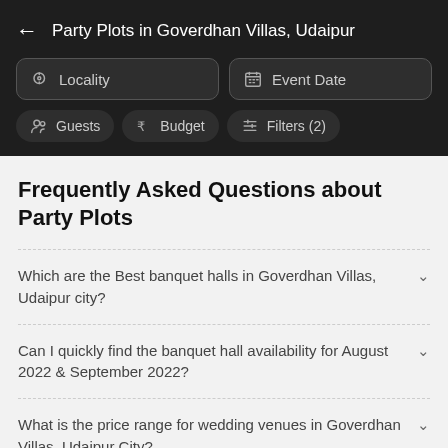Party Plots in Goverdhan Villas, Udaipur
Frequently Asked Questions about Party Plots
Which are the Best banquet halls in Goverdhan Villas, Udaipur city?
Can I quickly find the banquet hall availability for August 2022 & September 2022?
What is the price range for wedding venues in Goverdhan Villas, Udaipur City?